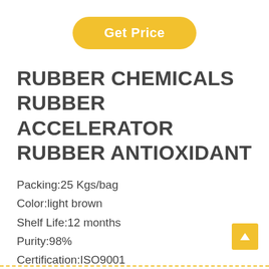[Figure (other): Yellow 'Get Price' button with rounded corners]
RUBBER CHEMICALS RUBBER ACCELERATOR RUBBER ANTIOXIDANT
Packing:25 Kgs/bag
Color:light brown
Shelf Life:12 months
Purity:98%
Certification:ISO9001
Appearance:Powder,Oil powder or Granular